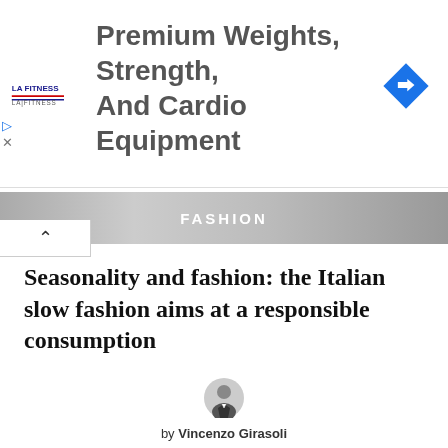[Figure (screenshot): Advertisement banner for LA Fitness: Premium Weights, Strength, And Cardio Equipment. Shows LA Fitness logo, text, and a blue navigation/direction icon on the right.]
[Figure (photo): Dark grayscale banner image with the word FASHION in bold white spaced letters centered, partially obscured by navigation arrow element.]
Seasonality and fashion: the Italian slow fashion aims at a responsible consumption
[Figure (photo): Small circular avatar photo of author Vincenzo Girasoli, a man in a suit.]
by Vincenzo Girasoli
[Figure (other): Large light gray placeholder content block below the article header.]